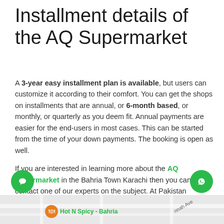Installment details of the AQ Supermarket
A 3-year easy installment plan is available, but users can customize it according to their comfort. You can get the shops on installments that are annual, or 6-month based, or monthly, or quarterly as you deem fit. Annual payments are easier for the end-users in most cases. This can be started from the time of your down payments. The booking is open as well.
If you are interested in learning more about the AQ Supermarket in the Bahria Town Karachi then you can contact one of our experts on the subject. At Pakistan Property Leaders we have many professionals who can guide you further on the subject of your choice. Make this yours today!
[Figure (map): Partial map view at bottom of page showing street layout with a Hot N Spicy - Bahria location marker and a diagonal road label. Two circular FAB buttons (chat and WhatsApp) overlay the content.]